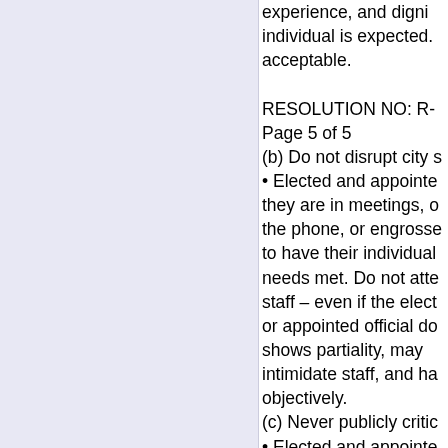experience, and dignity of each individual is expected. … acceptable.
RESOLUTION NO: R-
Page 5 of 5
(b) Do not disrupt city s…
• Elected and appointe… they are in meetings, o… the phone, or engross… to have their individual… needs met. Do not atte… staff – even if the elect… or appointed official do… shows partiality, may … intimidate staff, and ha… objectively.
(c) Never publicly critic…
• Elected and appointe… about the performance… City employee in publi… employee's manager. … about staff performanc… Administrator through … correspondence or co… their comments regard…